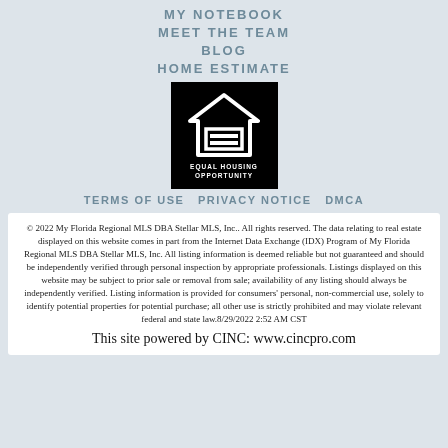MY NOTEBOOK
MEET THE TEAM
BLOG
HOME ESTIMATE
[Figure (logo): Equal Housing Opportunity logo — black square with white house outline and equals sign, text reads EQUAL HOUSING OPPORTUNITY]
TERMS OF USE  PRIVACY NOTICE  DMCA
© 2022 My Florida Regional MLS DBA Stellar MLS, Inc.. All rights reserved. The data relating to real estate displayed on this website comes in part from the Internet Data Exchange (IDX) Program of My Florida Regional MLS DBA Stellar MLS, Inc. All listing information is deemed reliable but not guaranteed and should be independently verified through personal inspection by appropriate professionals. Listings displayed on this website may be subject to prior sale or removal from sale; availability of any listing should always be independently verified. Listing information is provided for consumers' personal, non-commercial use, solely to identify potential properties for potential purchase; all other use is strictly prohibited and may violate relevant federal and state law.8/29/2022 2:52 AM CST
This site powered by CINC: www.cincpro.com